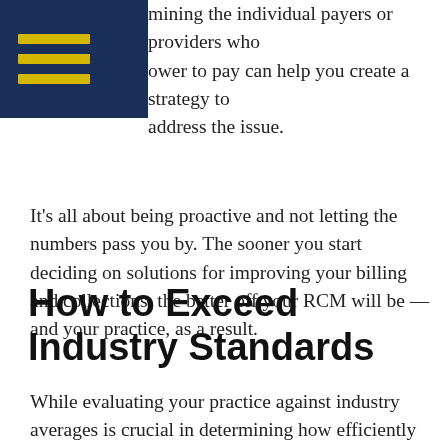[hamburger menu icon]
mining the individual payers or providers who ower to pay can help you create a strategy to address the issue.
It's all about being proactive and not letting the numbers pass you by. The sooner you start deciding on solutions for improving your billing and collections, the better off your RCM will be — and your practice, as a result.
How to Exceed Industry Standards
While evaluating your practice against industry averages is crucial in determining how efficiently you are obtaining payment, it can be a hassle and cause